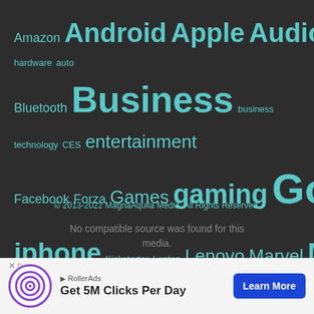[Figure (infographic): Tag cloud of technology-related topics on a dark background including Android, Apple, Google, technology, Mobile, iOS, etc.]
© 2013-2022 MagnaAquila Media. All Rights Reserved.
No compatible source was found for this media.
[Figure (other): RollerAds advertisement banner: Get 5M Clicks Per Day - Learn More]